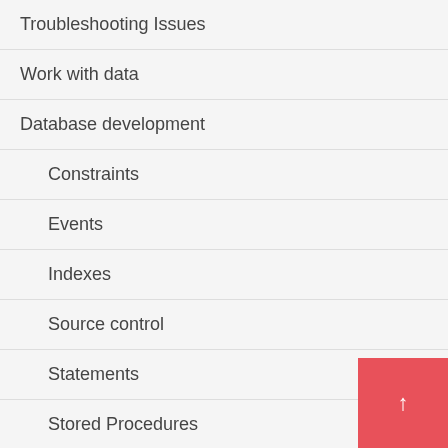Troubleshooting Issues
Work with data
Database development
Constraints
Events
Indexes
Source control
Statements
Stored Procedures
Tables